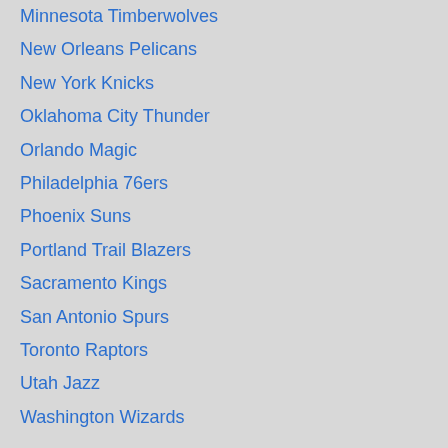Minnesota Timberwolves
New Orleans Pelicans
New York Knicks
Oklahoma City Thunder
Orlando Magic
Philadelphia 76ers
Phoenix Suns
Portland Trail Blazers
Sacramento Kings
San Antonio Spurs
Toronto Raptors
Utah Jazz
Washington Wizards
[Figure (illustration): Hockey puck icon (dark gray disc)]
NATIONAL HOCKEY LEAGUE (NHL)